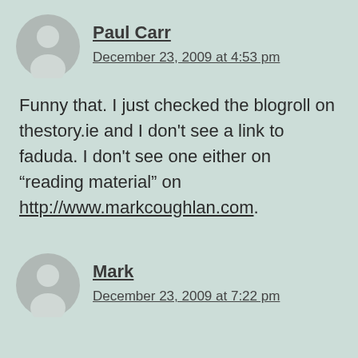Paul Carr
December 23, 2009 at 4:53 pm
Funny that. I just checked the blogroll on thestory.ie and I don't see a link to faduda. I don't see one either on “reading material” on http://www.markcoughlan.com.
Mark
December 23, 2009 at 7:22 pm